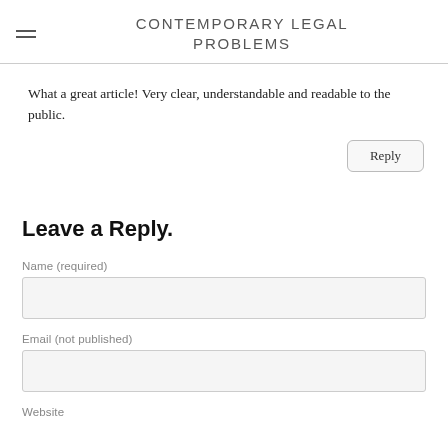CONTEMPORARY LEGAL PROBLEMS
What a great article! Very clear, understandable and readable to the public.
Leave a Reply.
Name (required)
Email (not published)
Website